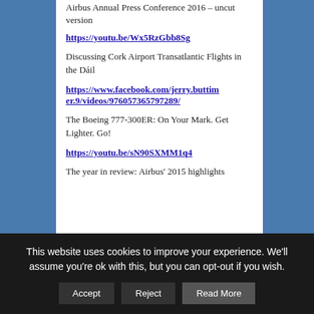Airbus Annual Press Conference 2016 – uncut version
https://youtu.be/Wx5RzGbb8Sg
Discussing Cork Airport Transatlantic Flights in the Dáil
https://www.facebook.com/jerry.buttimer.9/videos/976057365797289/
The Boeing 777-300ER: On Your Mark. Get Lighter. Go!
https://youtu.be/sN90SXMM1q4
The year in review: Airbus' 2015 highlights
This website uses cookies to improve your experience. We'll assume you're ok with this, but you can opt-out if you wish.